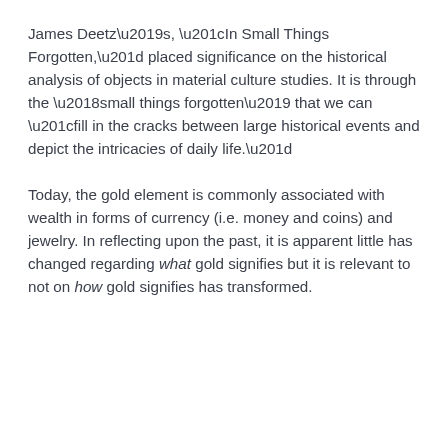James Deetz's, “In Small Things Forgotten,” placed significance on the historical analysis of objects in material culture studies. It is through the ‘small things forgotten’ that we can “fill in the cracks between large historical events and depict the intricacies of daily life.”
Today, the gold element is commonly associated with wealth in forms of currency (i.e. money and coins) and jewelry. In reflecting upon the past, it is apparent little has changed regarding what gold signifies but it is relevant to not on how gold signifies has transformed.